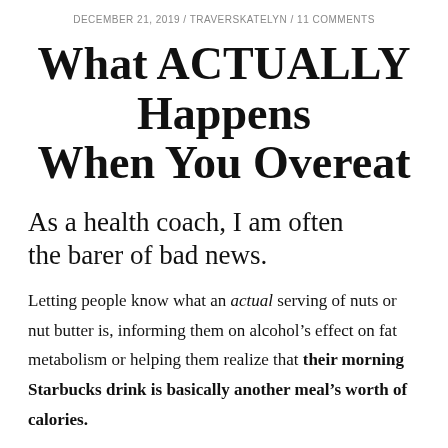DECEMBER 21, 2019 / TRAVERSKATELYN / 11 COMMENTS
What ACTUALLY Happens When You Overeat
As a health coach, I am often the barer of bad news.
Letting people know what an actual serving of nuts or nut butter is, informing them on alcohol’s effect on fat metabolism or helping them realize that their morning Starbucks drink is basically another meal’s worth of calories.